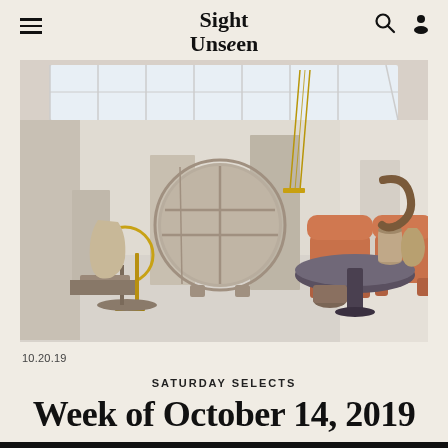Sight Unseen
[Figure (photo): Interior design showroom with modernist furniture: circular shelving unit, terracotta upholstered armchairs, round marble dining table, brass pendant light, gold ring floor lamp, sculptural objects on pedestals, skylight ceiling]
10.20.19
SATURDAY SELECTS
Week of October 14, 2019